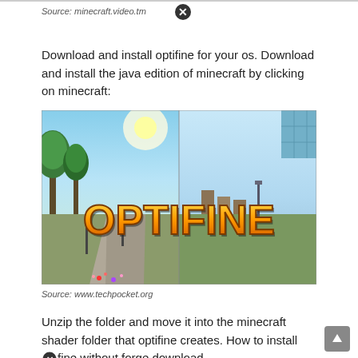Source: minecraft.video.tm
Download and install optifine for your os. Download and install the java edition of minecraft by clicking on minecraft:
[Figure (screenshot): Screenshot of Optifine promotional image showing a Minecraft scene with shaders applied. Left half shows enhanced realistic graphics with trees, a path, and sunlight. Right half shows standard Minecraft graphics. Large text 'OPTIFINE' in golden/orange gradient letters is overlaid in the center.]
Source: www.techpocket.org
Unzip the folder and move it into the minecraft shader folder that optifine creates. How to install optifine without forge download